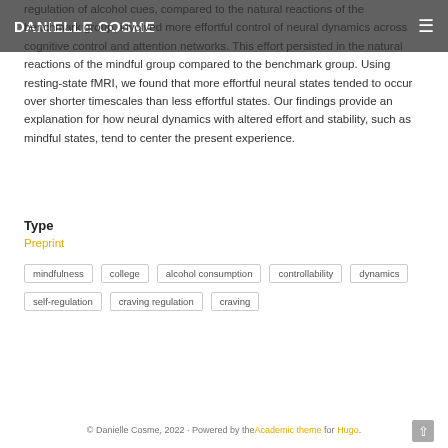DANIELLE COSME
regulation of alcohol cues, compared to the natural reactions of the benchmark group, involved more effortful control of neural dynamics across cognitive control and attention networks. This effort persisted in the natural reactions of the mindful group compared to the benchmark group. Using resting-state fMRI, we found that more effortful neural states tended to occur over shorter timescales than less effortful states. Our findings provide an explanation for how neural dynamics with altered effort and stability, such as mindful states, tend to center the present experience.
Type
Preprint
mindfulness
college
alcohol consumption
controllability
dynamics
self-regulation
craving regulation
craving
© Danielle Cosme, 2022 · Powered by the Academic theme for Hugo.